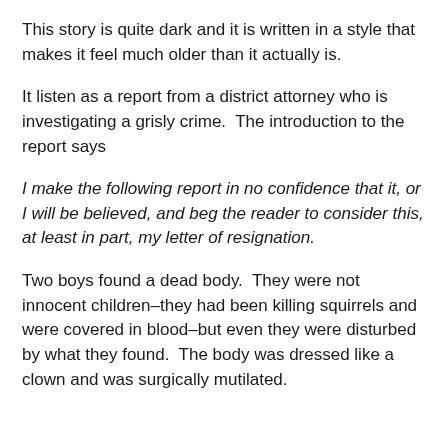This story is quite dark and it is written in a style that makes it feel much older than it actually is.
It listen as a report from a district attorney who is investigating a grisly crime.  The introduction to the report says
I make the following report in no confidence that it, or I will be believed, and beg the reader to consider this, at least in part, my letter of resignation.
Two boys found a dead body.  They were not innocent children–they had been killing squirrels and were covered in blood–but even they were disturbed by what they found.  The body was dressed like a clown and was surgically mutilated.